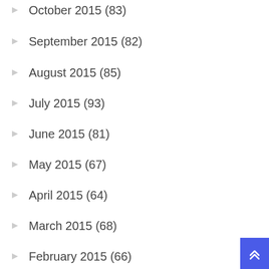October 2015 (83)
September 2015 (82)
August 2015 (85)
July 2015 (93)
June 2015 (81)
May 2015 (67)
April 2015 (64)
March 2015 (68)
February 2015 (66)
January 2015 (70)
December 2014 (50)
November 2014 (59)
October 2014 (74)